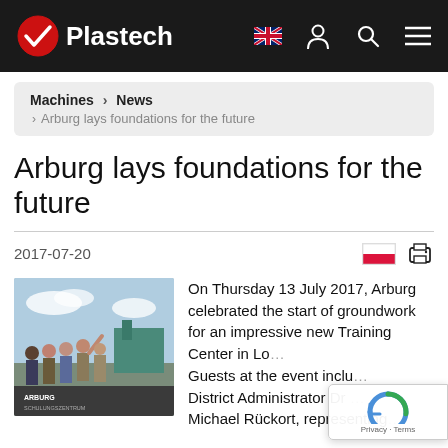Plastech
Machines › News › Arburg lays foundations for the future
Arburg lays foundations for the future
2017-07-20
[Figure (photo): Group of people at Arburg groundbreaking ceremony, with Arburg Schulungszentrum sign visible]
On Thursday 13 July 2017, Arburg celebrated the start of groundwork for an impressive new Training Center in Lo... Guests at the event inclu... District Administrator Dr ... Michael Rückort, representing...